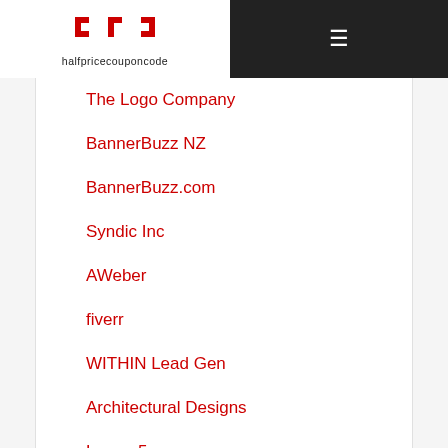halfpricecouponcode
The Logo Company
BannerBuzz NZ
BannerBuzz.com
Syndic Inc
AWeber
fiverr
WITHIN Lead Gen
Architectural Designs
Lumen5
24-7PressRelease
BoxUp
1bigsolution